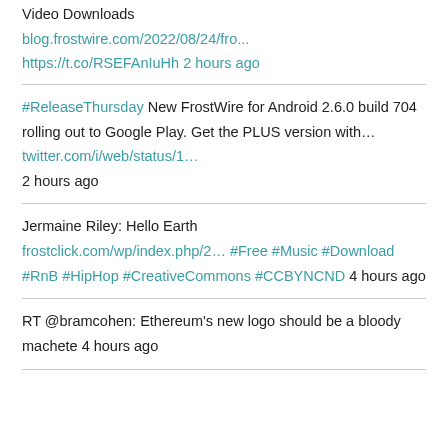Video Downloads blog.frostwire.com/2022/08/24/fro... https://t.co/RSEFAnIuHh 2 hours ago
#ReleaseThursday New FrostWire for Android 2.6.0 build 704 rolling out to Google Play. Get the PLUS version with... twitter.com/i/web/status/1... 2 hours ago
Jermaine Riley: Hello Earth frostclick.com/wp/index.php/2... #Free #Music #Download #RnB #HipHop #CreativeCommons #CCBYNCND 4 hours ago
RT @bramcohen: Ethereum's new logo should be a bloody machete 4 hours ago